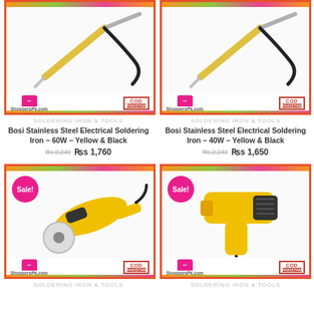[Figure (photo): Bosi Stainless Steel Electrical Soldering Iron 60W Yellow & Black product image with ShoppersPk.com and COD Pakistan branding]
SOLDERING IRON & TOOLS
Bosi Stainless Steel Electrical Soldering Iron – 60W – Yellow & Black
Rs 2,240  Rs 1,760
[Figure (photo): Bosi Stainless Steel Electrical Soldering Iron 40W Yellow & Black product image with ShoppersPk.com and COD Pakistan branding]
SOLDERING IRON & TOOLS
Bosi Stainless Steel Electrical Soldering Iron – 40W – Yellow & Black
Rs 2,240  Rs 1,650
[Figure (photo): Angle grinder / polisher tool yellow with Sale badge, ShoppersPk.com and COD Pakistan branding]
SOLDERING IRON & TOOLS
[Figure (photo): Yellow heat gun tool with Sale badge, ShoppersPk.com and COD Pakistan branding]
SOLDERING IRON & TOOLS